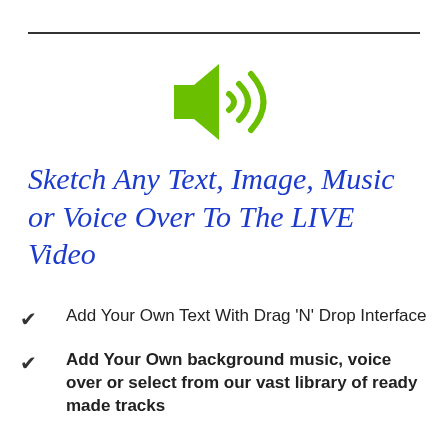[Figure (illustration): Green speaker/audio icon with sound waves, centered near top of page]
Sketch Any Text, Image, Music or Voice Over To The LIVE Video
Add Your Own Text With Drag 'N' Drop Interface
Add Your Own background music, voice over or select from our vast library of ready made tracks